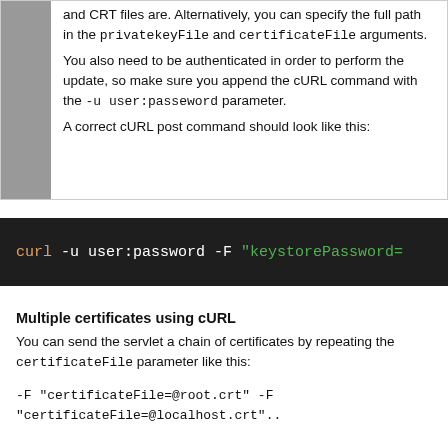and CRT files are. Alternatively, you can specify the full path in the privatekeyFile and certificateFile arguments.
You also need to be authenticated in order to perform the update, so make sure you append the cURL command with the -u user:passeword parameter.
A correct cURL post command should look like this:
[Figure (screenshot): Terminal code block showing: curl -u user:password -F "keystorePassword=]
Multiple certificates using cURL
You can send the servlet a chain of certificates by repeating the certificateFile parameter like this:
-F "certificateFile=@root.crt" -F
"certificateFile=@localhost.crt"..